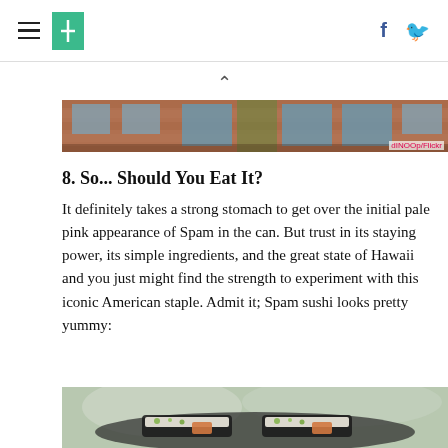[Huffington Post header with hamburger menu, logo, Facebook and Twitter icons]
[Figure (photo): Top portion of a brick building exterior with windows and trees, photo credit: dINOOp/Flickr]
8. So... Should You Eat It?
It definitely takes a strong stomach to get over the initial pale pink appearance of Spam in the can. But trust in its staying power, its simple ingredients, and the great state of Hawaii and you just might find the strength to experiment with this iconic American staple. Admit it; Spam sushi looks pretty yummy:
[Figure (photo): Close-up photo of Spam sushi (musubi) with rice and nori seaweed on a dark plate]